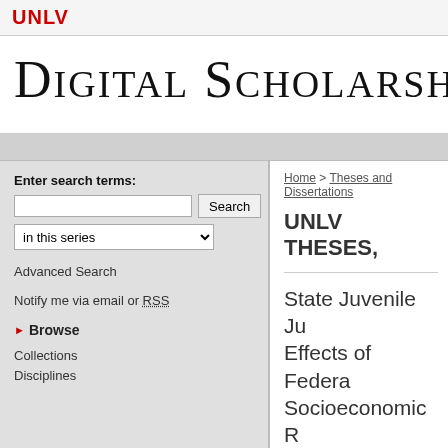UNLV
Digital Scholarship@U
Home > Theses and Dissertations
UNLV THESES,
Enter search terms:
in this series
Advanced Search
Notify me via email or RSS
Browse
Collections
Disciplines
State Juvenile Ju... Effects of Federa... Socioeconomic R...